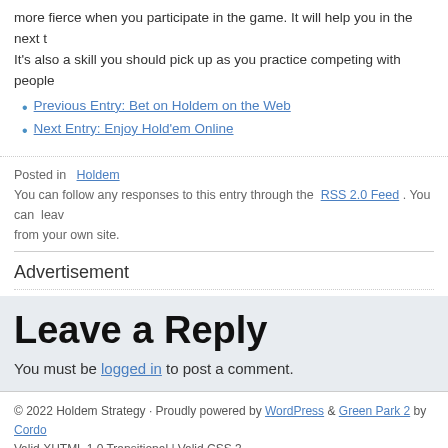more fierce when you participate in the game. It will help you in the next t It's also a skill you should pick up as you practice competing with people
Previous Entry: Bet on Holdem on the Web
Next Entry: Enjoy Hold'em Online
Posted in  Holdem
You can follow any responses to this entry through the  RSS 2.0 Feed . You can  leav from your own site.
Advertisement
Leave a Reply
You must be logged in to post a comment.
© 2022 Holdem Strategy · Proudly powered by WordPress & Green Park 2 by Cordo Valid XHTML 1.0 Transitional | Valid CSS 3